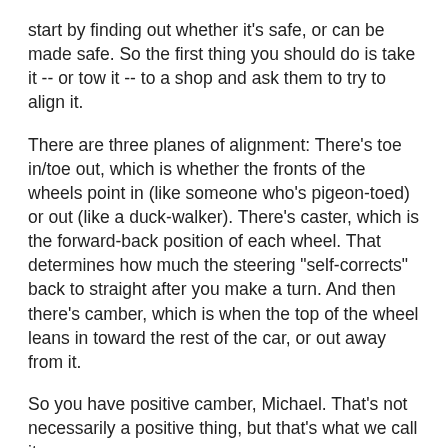start by finding out whether it's safe, or can be made safe. So the first thing you should do is take it -- or tow it -- to a shop and ask them to try to align it.
There are three planes of alignment: There's toe in/toe out, which is whether the fronts of the wheels point in (like someone who's pigeon-toed) or out (like a duck-walker). There's caster, which is the forward-back position of each wheel. That determines how much the steering "self-corrects" back to straight after you make a turn. And then there's camber, which is when the top of the wheel leans in toward the rest of the car, or out away from it.
So you have positive camber, Michael. That's not necessarily a positive thing, but that's what we call it.
And you want to know why. It could be something simple, like it just needs to be aligned. Or it has worn-out or broken springs.